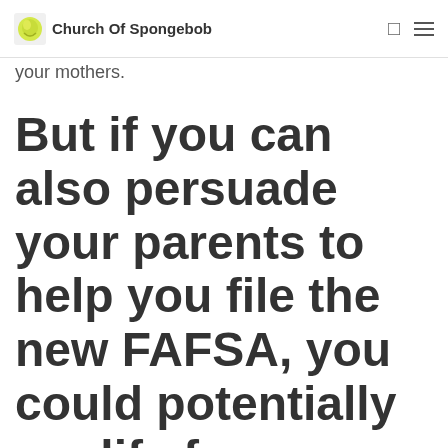Church Of Spongebob
your mothers.
But if you can also persuade your parents to help you file the new FAFSA, you could potentially qualify for your discretionary